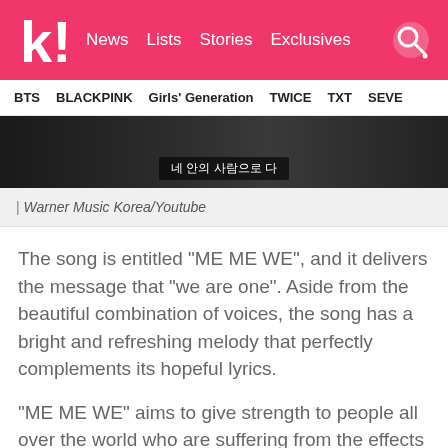koreaboo | News | Lists | Stories | Exclusives
BTS | BLACKPINK | Girls' Generation | TWICE | TXT | SEVE
[Figure (screenshot): Dark screenshot of a music video with Korean subtitle text '네 안의 사람으로 다']
| Warner Music Korea/Youtube
The song is entitled “ME ME WE”, and it delivers the message that “we are one”. Aside from the beautiful combination of voices, the song has a bright and refreshing melody that perfectly complements its hopeful lyrics.
“ME ME WE” aims to give strength to people all over the world who are suffering from the effects of COVID-19.